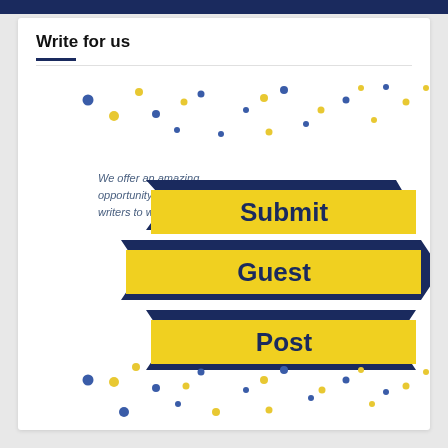Write for us
[Figure (illustration): Decorative banner graphic with yellow ribbon folded in three bands labeled 'Submit Guest Post', dark navy blue arrow shapes behind the ribbons, and scattered blue and yellow dots above and below the banner. Text 'We offer an amazing opportunity for tech writers to write for us.' appears to the left of the banner.]